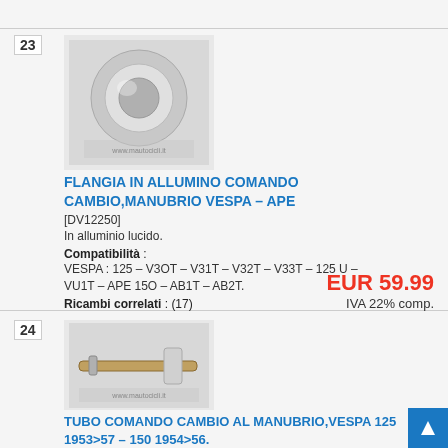23
[Figure (photo): Chrome aluminum flange component for Vespa/Ape gear control handlebar]
FLANGIA IN ALLUMINO COMANDO CAMBIO,MANUBRIO VESPA – APE
[DV12250]
In alluminio lucido.
Compatibilità : VESPA : 125 – V3OT – V31T – V32T – V33T – 125 U – VU1T – APE 15O – AB1T – AB2T.
Ricambi correlati : (17)
EUR 59.99
IVA 22% comp.
24
[Figure (photo): Gear control tube for handlebar, Vespa 125 1953>57 – 150 1954>56]
TUBO COMANDO CAMBIO AL MANUBRIO,VESPA 125 1953>57 – 150 1954>56.
(Ricambio in arrivo)